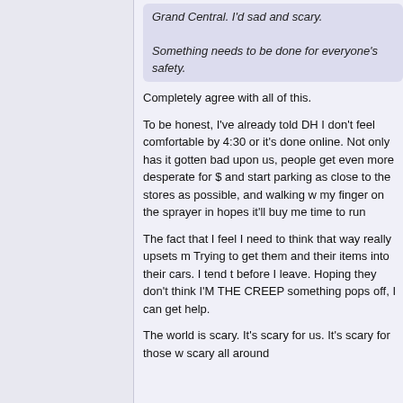Grand Central. I'd sad and scary.

Something needs to be done for everyone's safety.
Completely agree with all of this.

To be honest, I've already told DH I don't feel comfortable by 4:30 or it's done online. Not only has it gotten bad upon us, people get even more desperate for $ and start parking as close to the stores as possible, and walking w my finger on the sprayer in hopes it'll buy me time to run

The fact that I feel I need to think that way really upsets m Trying to get them and their items into their cars. I tend t before I leave. Hoping they don't think I'M THE CREEP something pops off, I can get help.

The world is scary. It's scary for us. It's scary for those w scary all around
NervousNell
Just another chapter in life..
[Figure (photo): Avatar photo of a woman with a drink/beer]
Re: PSA: public bathroom safety
Posted by MichLiz213

I am so sorry for your friend. That must have been terri